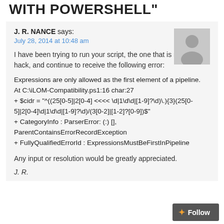WITH POWERSHELL"
J. R. NANCE says:
July 28, 2014 at 10:48 am
I have been trying to run your script, the one that is not a hack, and continue to receive the following error:
Expressions are only allowed as the first element of a pipeline.
At C:\iLOM-Compatibility.ps1:16 char:27
+ $cidr = "^((25[0-5]|2[0-4] <<<< \d|1\d\d|[1-9]?\d)\.){3}(25[0-5]|2[0-4]\d|1\d\d|[1-9]?\d)/(3[0-2]|[1-2]?[0-9])$"
+ CategoryInfo : ParserError: (:) [], ParentContainsErrorRecordException
+ FullyQualifiedErrorId : ExpressionsMustBeFirstInPipeline
Any input or resolution would be greatly appreciated.
J. R.